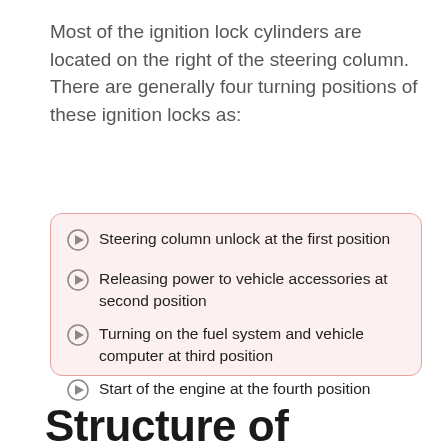Most of the ignition lock cylinders are located on the right of the steering column. There are generally four turning positions of these ignition locks as:
Steering column unlock at the first position
Releasing power to vehicle accessories at second position
Turning on the fuel system and vehicle computer at third position
Start of the engine at the fourth position
Structure of